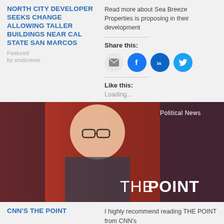NORTH CITY DEVELOPER SEEKS CHANGE ALLOWING TALLER BUILDINGS NEAR CAL STATE SAN MARCOS
Featured
by smdcnews
Read more about Sea Breeze Properties is proposing in their development
Share this:
[Figure (infographic): Social share icons: email (grey circle), Facebook (blue circle with f), LinkedIn (dark blue circle with in), Twitter (light blue circle with bird)]
Like this:
Loading...
[Figure (photo): Banner image for CNN's The Point featuring a man in glasses smiling, with a red and blue toned background. Text overlay reads 'THE POINT'. Top right badge says 'Political News'.]
CNN'S THE POINT
I highly recommend reading THE POINT from CNN's